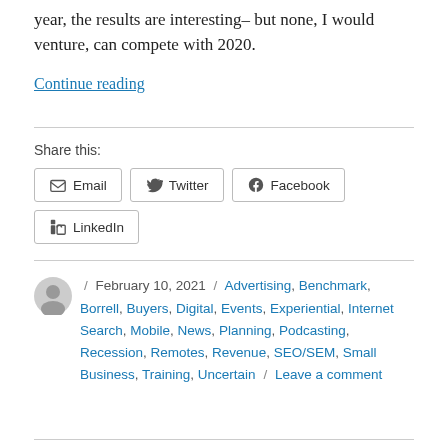year, the results are interesting– but none, I would venture, can compete with 2020.
Continue reading
Share this:
Email  Twitter  Facebook  LinkedIn
/ February 10, 2021 / Advertising, Benchmark, Borrell, Buyers, Digital, Events, Experiential, Internet Search, Mobile, News, Planning, Podcasting, Recession, Remotes, Revenue, SEO/SEM, Small Business, Training, Uncertain / Leave a comment